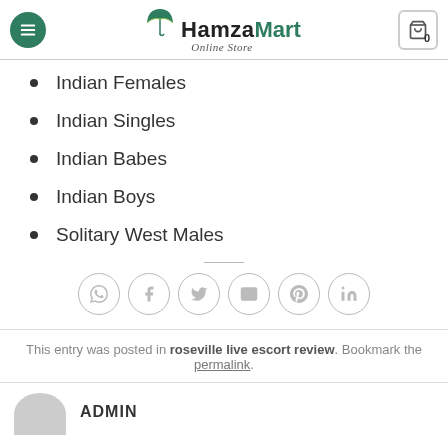Hamza Mart Online Store
Indian Females
Indian Singles
Indian Babes
Indian Boys
Solitary West Males
This entry was posted in roseville live escort review. Bookmark the permalink.
ADMIN